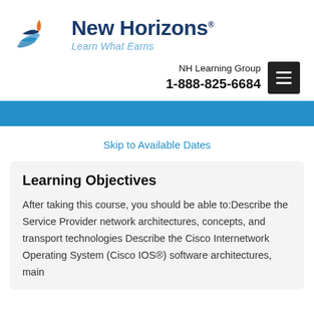[Figure (logo): New Horizons logo with stylized bird/wing icon and tagline 'Learn What Earns']
NH Learning Group
1-888-825-6684
Skip to Available Dates
Learning Objectives
After taking this course, you should be able to:Describe the Service Provider network architectures, concepts, and transport technologies Describe the Cisco Internetwork Operating System (Cisco IOS®) software architectures, main